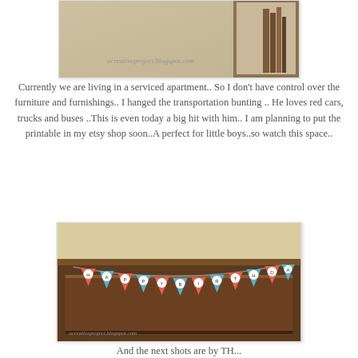[Figure (photo): Top portion of a photo showing a room with a tan/beige wall, a framed picture, books on a shelf, and a watermark text 'acreativeproject.blogspot.com']
Currently we are living in a serviced apartment.. So I don't have control over the furniture and furnishings.. I hanged the transportation bunting .. He loves red cars, trucks and buses ..This is even today a big hit with him.. I am planning to put the printable in my etsy shop soon..A perfect for little boys..so watch this space..
[Figure (photo): Photo of a colorful birthday banner made of blue and coral/red pennant flags with white circular letter medallions, hanging on a dark wooden cabinet/dresser against a beige wall.]
And the next shots are by TH...